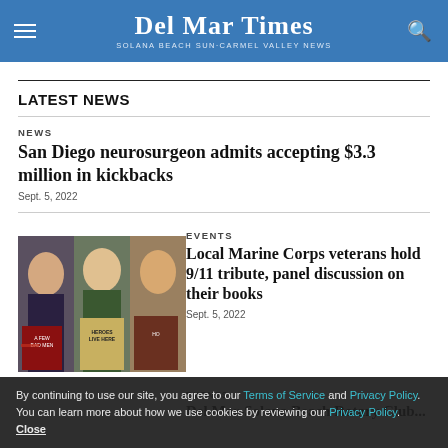Del Mar Times — Solana Beach Sun·Carmel Valley News
LATEST NEWS
NEWS — San Diego neurosurgeon admits accepting $3.3 million in kickbacks — Sept. 5, 2022
[Figure (photo): Three people side-by-side promotional photo with book covers including 'A Few Bad Men' and 'Heroes Live Here']
EVENTS — Local Marine Corps veterans hold 9/11 tribute, panel discussion on their books — Sept. 5, 2022
EVENTS — Del Mar-Solana Beach Rotary Club...
By continuing to use our site, you agree to our Terms of Service and Privacy Policy. You can learn more about how we use cookies by reviewing our Privacy Policy. Close